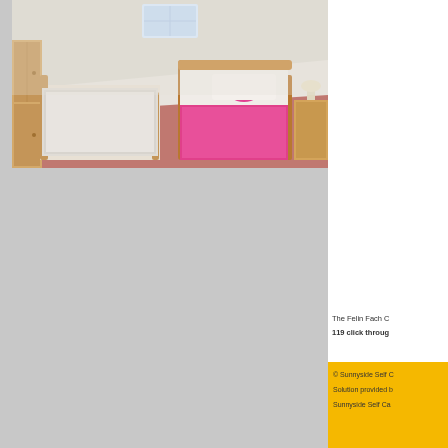[Figure (photo): Interior bedroom photo showing two single beds with wooden frames on pink/red carpet, sloped ceiling with skylight window, pink bedspread with heart-shaped pillow on one bed, wardrobe on left side]
The Felin Fach C
119 click throug
© Sunnyside Self C
Solution provided b
Sunnyside Self Ca